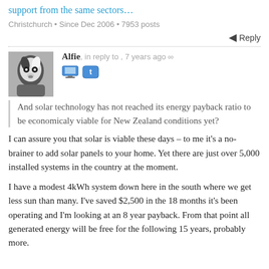support from the same sectors…
Christchurch • Since Dec 2006 • 7953 posts
Reply
[Figure (photo): Black and white avatar photo of a dog (border collie type)]
Alfie, in reply to , 7 years ago
And solar technology has not reached its energy payback ratio to be economicaly viable for New Zealand conditions yet?
I can assure you that solar is viable these days – to me it's a no-brainer to add solar panels to your home. Yet there are just over 5,000 installed systems in the country at the moment.
I have a modest 4kWh system down here in the south where we get less sun than many. I've saved $2,500 in the 18 months it's been operating and I'm looking at an 8 year payback. From that point all generated energy will be free for the following 15 years, probably more.